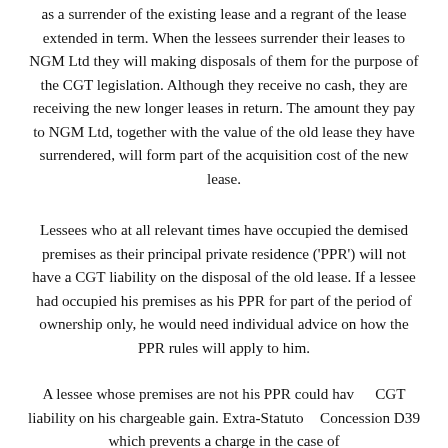as a surrender of the existing lease and a regrant of the lease extended in term. When the lessees surrender their leases to NGM Ltd they will making disposals of them for the purpose of the CGT legislation. Although they receive no cash, they are receiving the new longer leases in return. The amount they pay to NGM Ltd, together with the value of the old lease they have surrendered, will form part of the acquisition cost of the new lease.
Lessees who at all relevant times have occupied the demised premises as their principal private residence ('PPR') will not have a CGT liability on the disposal of the old lease. If a lessee had occupied his premises as his PPR for part of the period of ownership only, he would need individual advice on how the PPR rules will apply to him.
A lessee whose premises are not his PPR could have a CGT liability on his chargeable gain. Extra-Statutory Concession D39 which prevents a charge in the case of